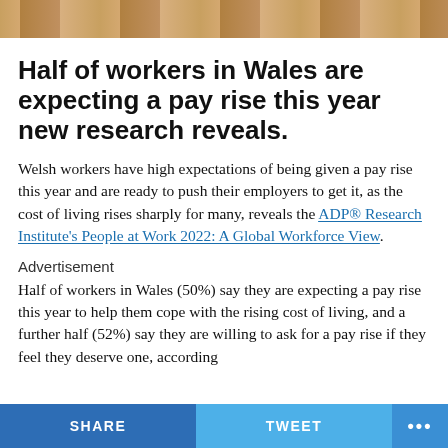[Figure (photo): Partial photo strip at the top of the page showing what appears to be a person, cropped to a narrow horizontal band.]
Half of workers in Wales are expecting a pay rise this year new research reveals.
Welsh workers have high expectations of being given a pay rise this year and are ready to push their employers to get it, as the cost of living rises sharply for many, reveals the ADP® Research Institute's People at Work 2022: A Global Workforce View.
Advertisement
Half of workers in Wales (50%) say they are expecting a pay rise this year to help them cope with the rising cost of living, and a further half (52%) say they are willing to ask for a pay rise if they feel they deserve one, according
SHARE   TWEET   ...